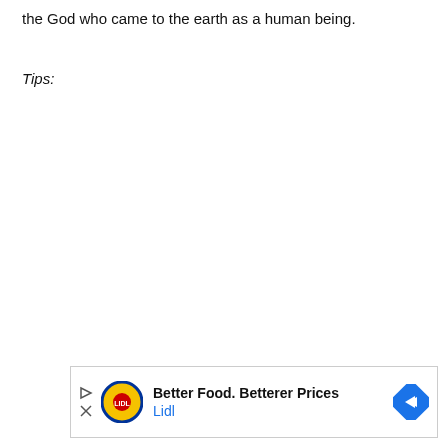the God who came to the earth as a human being.
Tips:
[Figure (other): Lidl advertisement banner: Play and close icons on left, Lidl circular yellow logo, text 'Better Food. Betterer Prices' in bold with 'Lidl' in blue below, blue diamond navigation arrow on right.]